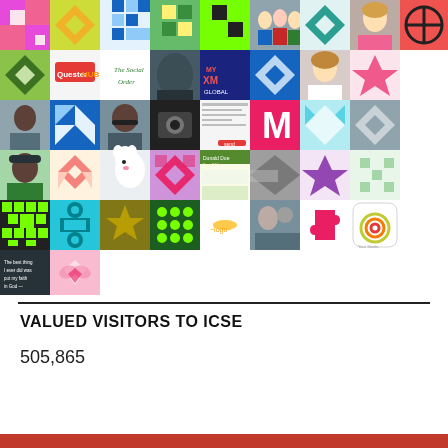[Figure (illustration): Grid of social media avatar thumbnails — various patterns, logos, profile photos arranged in rows]
VALUED VISITORS TO ICSE
505,865